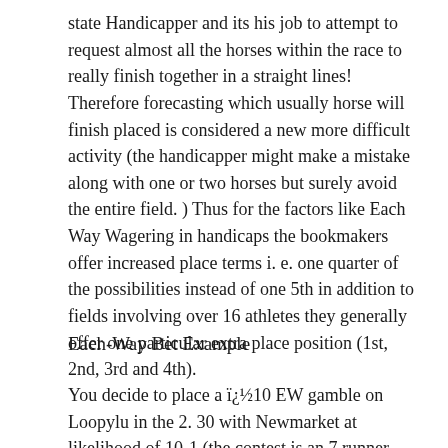state Handicapper and its his job to attempt to request almost all the horses within the race to really finish together in a straight lines! Therefore forecasting which usually horse will finish placed is considered a new more difficult activity (the handicapper might make a mistake along with one or two horses but surely avoid the entire field. ) Thus for the factors like Each Way Wagering in handicaps the bookmakers offer increased place terms i. e. one quarter of the possibilities instead of one 5th in addition to fields involving over 16 athletes they generally offer one particular extra place position (1st, 2nd, 3rd and 4th).
Each-Way Bet Example
You decide to place a ï¿½10 EW gamble on Loopylu in the 2. 30 with Newmarket at likelihood of 10-1 (the contest is an 7 runner race not handicap, so